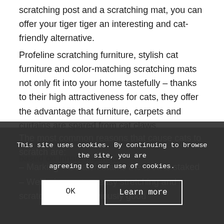scratching post and a scratching mat, you can offer your tiger tiger an interesting and cat-friendly alternative.
Profeline scratching furniture, stylish cat furniture and color-matching scratching mats not only fit into your home tastefully – thanks to their high attractiveness for cats, they offer the advantage that furniture, carpets and curtains are spared from cat claws.
Scratching is not learned by cats, but rather is based on innate instincts.
The most common reasons that cause cats to scratch are:
– Marking – Scratch marks the area is staked
– Wellbeing and – easy stretching and scratching cat is obviously good
This site uses cookies. By continuing to browse the site, you are agreeing to our use of cookies.